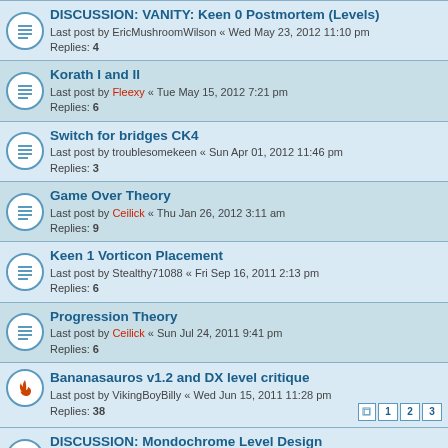DISCUSSION: VANITY: Keen 0 Postmortem (Levels)
Last post by EricMushroomWilson « Wed May 23, 2012 11:10 pm
Replies: 4
Korath I and II
Last post by Fleexy « Tue May 15, 2012 7:21 pm
Replies: 6
Switch for bridges CK4
Last post by troublesomekeen « Sun Apr 01, 2012 11:46 pm
Replies: 3
Game Over Theory
Last post by Ceilick « Thu Jan 26, 2012 3:11 am
Replies: 9
Keen 1 Vorticon Placement
Last post by Stealthy71088 « Fri Sep 16, 2011 2:13 pm
Replies: 6
Progression Theory
Last post by Ceilick « Sun Jul 24, 2011 9:41 pm
Replies: 6
Bananasauros v1.2 and DX level critique
Last post by VikingBoyBilly « Wed Jun 15, 2011 11:28 pm
Replies: 38
DISCUSSION: Mondochrome Level Design
Last post by XkyRauh « Sun Apr 10, 2011 5:03 pm
Replies: 12
Galaxy Level Design and Basic Rules
Last post by Ceilick « Wed Apr 06, 2011 8:46 pm
Replies: 13